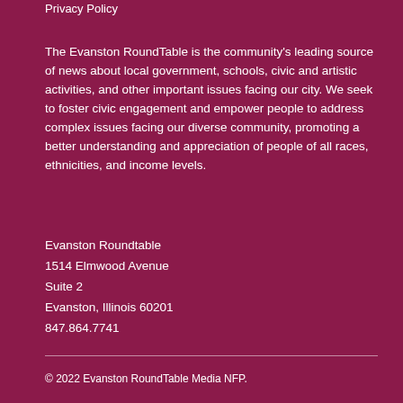Privacy Policy
The Evanston RoundTable is the community's leading source of news about local government, schools, civic and artistic activities, and other important issues facing our city. We seek to foster civic engagement and empower people to address complex issues facing our diverse community, promoting a better understanding and appreciation of people of all races, ethnicities, and income levels.
Evanston Roundtable
1514 Elmwood Avenue
Suite 2
Evanston, Illinois 60201
847.864.7741
© 2022 Evanston RoundTable Media NFP.